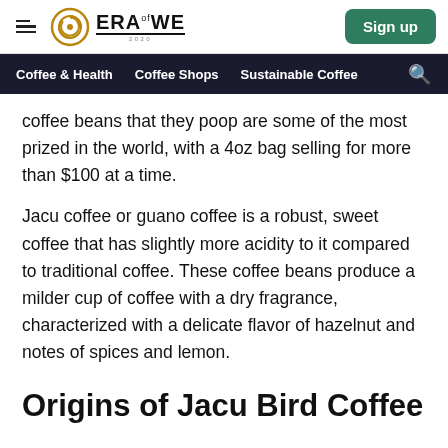ERA of WE — Sign up
Coffee & Health   Coffee Shops   Sustainable Coffee
coffee beans that they poop are some of the most prized in the world, with a 4oz bag selling for more than $100 at a time.
Jacu coffee or guano coffee is a robust, sweet coffee that has slightly more acidity to it compared to traditional coffee. These coffee beans produce a milder cup of coffee with a dry fragrance, characterized with a delicate flavor of hazelnut and notes of spices and lemon.
Origins of Jacu Bird Coffee